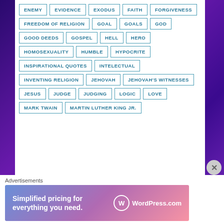[Figure (screenshot): A tag cloud / keyword list on a white background with purple galaxy background visible on sides. Tags include: ENEMY, EVIDENCE, EXODUS, FAITH, FORGIVENESS, FREEDOM OF RELIGION, GOAL, GOALS, GOD, GOOD DEEDS, GOSPEL, HELL, HERO, HOMOSEXUALITY, HUMBLE, HYPOCRITE, INSPIRATIONAL QUOTES, INTELECTUAL, INVENTING RELIGION, JEHOVAH, JEHOVAH'S WITNESSES, JESUS, JUDGE, JUDGING, LOGIC, LOVE, MARK TWAIN, MARTIN LUTHER KING JR.]
Advertisements
[Figure (screenshot): WordPress.com advertisement banner: 'Simplified pricing for everything you need.' with WordPress.com logo]